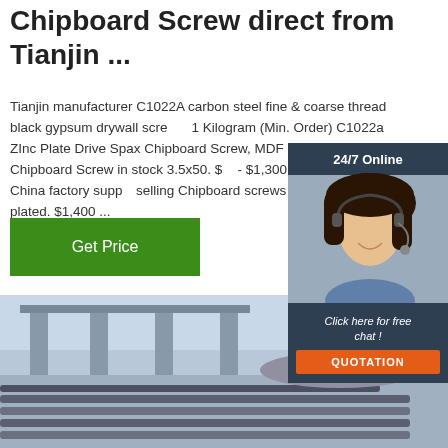Chipboard Screw direct from Tianjin ...
Tianjin manufacturer C1022A carbon steel fine & coarse thread black gypsum drywall screw ... 1 Kilogram (Min. Order) C1022a ZInc Plate Drive Spax Chipboard Screw, MDF double head Chipboard Screw in stock 3.5x50. $ - $1,300.00 Ton. 2 ... China factory supp selling Chipboard screws with yellow/wh plated. $1,400 ...
[Figure (infographic): Chat widget with '24/7 Online' header, photo of woman with headset, 'Click here for free chat!' text and orange QUOTATION button]
[Figure (photo): Steel rods/bars stacked in industrial yard with bridge structure in background, TOP logo overlay in bottom right]
Get Price